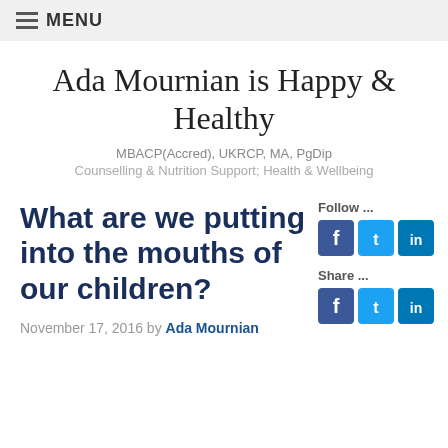MENU
Ada Mournian is Happy & Healthy
MBACP(Accred), UKRCP, MA, PgDip
Counselling & Nutrition Support; Health & Wellbeing
What are we putting into the mouths of our children?
Follow ...
Share ...
November 17, 2016 by Ada Mournian